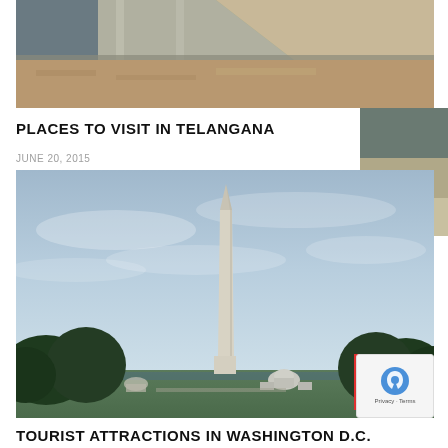[Figure (photo): Aerial/overhead photo of a dam or water infrastructure with road and sandy/muddy terrain]
PLACES TO VISIT IN TELANGANA
JUNE 20, 2015
[Figure (photo): Photo of the Washington Monument obelisk with the US Capitol building visible in the background, framed by trees, blue sky]
TOURIST ATTRACTIONS IN WASHINGTON D.C.